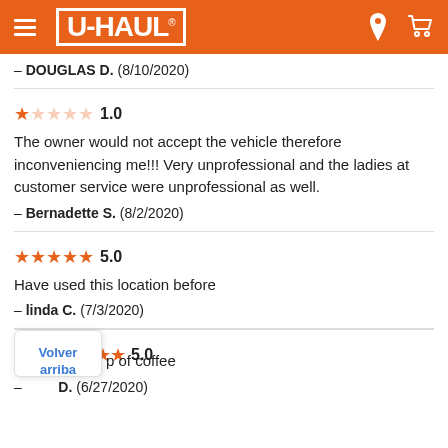[Figure (logo): U-Haul orange header bar with hamburger menu, U-HAUL logo, location pin icon, and cart icon]
— DOUGLAS D.  (8/10/2020)
★☆☆☆☆ 1.0
The owner would not accept the vehicle therefore inconveniencing me!!! Very unprofessional and the ladies at customer service were unprofessional as well.
— Bernadette S.  (8/2/2020)
★★★★★ 5.0
Have used this location before
— linda C.  (7/3/2020)
★★★★★ 5.0
...up of coffee
— [name] D.  (6/27/2020)
Volver arriba